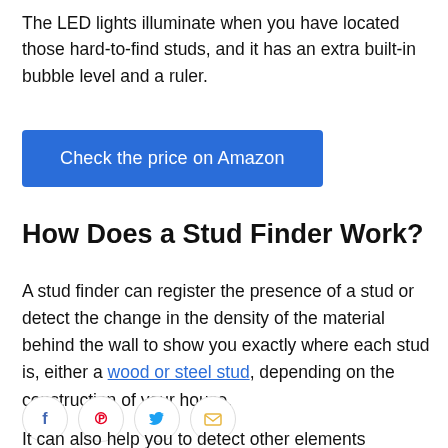The LED lights illuminate when you have located those hard-to-find studs, and it has an extra built-in bubble level and a ruler.
Check the price on Amazon
How Does a Stud Finder Work?
A stud finder can register the presence of a stud or detect the change in the density of the material behind the wall to show you exactly where each stud is, either a wood or steel stud, depending on the construction of your house.
[Figure (other): Social sharing icons: Facebook (blue), Pinterest (red), Twitter (blue), Email (yellow)]
It can also help you to detect other elements